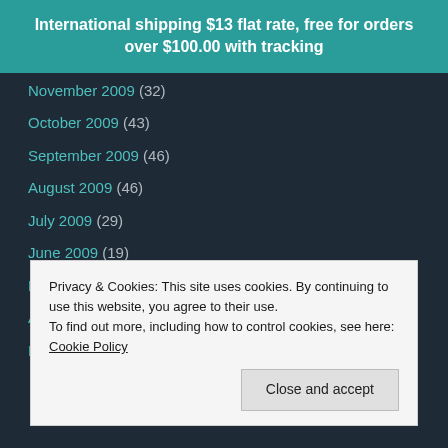International shipping $13 flat rate, free for orders over $100.00 with tracking
November 2009 (32)
October 2009 (43)
September 2009 (46)
August 2009 (46)
July 2009 (29)
June 2009 (19)
May 2009 (55)
April 2009 (44)
March 2009 (50)
Privacy & Cookies: This site uses cookies. By continuing to use this website, you agree to their use. To find out more, including how to control cookies, see here: Cookie Policy
Close and accept